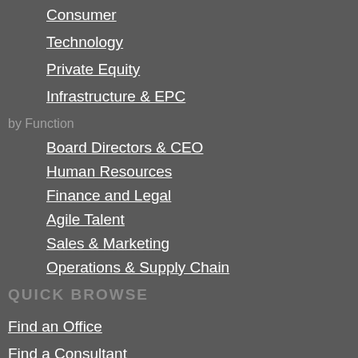Consumer
Technology
Private Equity
Infrastructure & EPC
by Function
Board Directors & CEO
Human Resources
Finance and Legal
Agile Talent
Sales & Marketing
Operations & Supply Chain
QUICK BROWSE
Find an Office
Find a Consultant